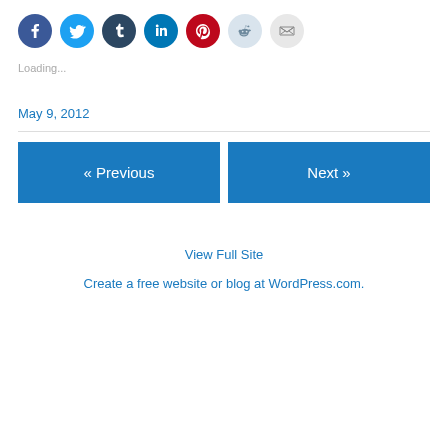[Figure (infographic): Row of social sharing icon circles: Facebook (blue), Twitter (light blue), Tumblr (dark navy), LinkedIn (dark blue), Pinterest (red), Reddit (light blue-grey), Email (light grey)]
Loading...
May 9, 2012
« Previous
Next »
View Full Site
Create a free website or blog at WordPress.com.